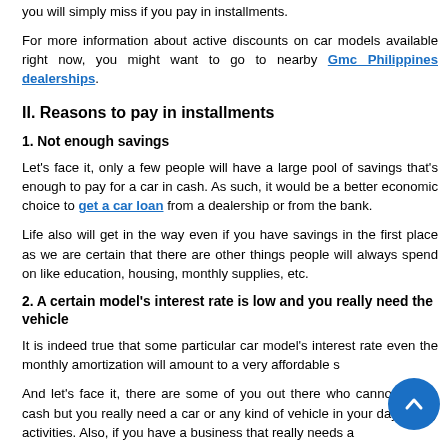you will simply miss if you pay in installments.
For more information about active discounts on car models available right now, you might want to go to nearby Gmc Philippines dealerships.
II. Reasons to pay in installments
1. Not enough savings
Let's face it, only a few people will have a large pool of savings that's enough to pay for a car in cash. As such, it would be a better economic choice to get a car loan from a dealership or from the bank.
Life also will get in the way even if you have savings in the first place as we are certain that there are other things people will always spend on like education, housing, monthly supplies, etc.
2. A certain model's interest rate is low and you really need the vehicle
It is indeed true that some particular car model's interest rate even the monthly amortization will amount to a very affordable s
And let's face it, there are some of you out there who cannot pay in cash but you really need a car or any kind of vehicle in your day to day activities. Also, if you have a business that really needs a